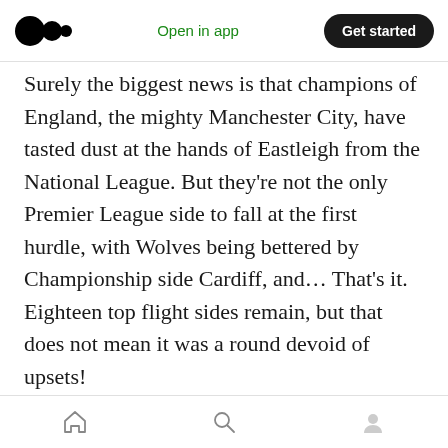Medium app navigation bar with logo, 'Open in app' link, and 'Get started' button
Surely the biggest news is that champions of England, the mighty Manchester City, have tasted dust at the hands of Eastleigh from the National League. But they're not the only Premier League side to fall at the first hurdle, with Wolves being bettered by Championship side Cardiff, and… That's it. Eighteen top flight sides remain, but that does not mean it was a round devoid of upsets!
Preston, Dover, Carlisle, and many others have also been found weeping in the dressing room at full time, and doesn't their sacrifice in defeat just
Bottom navigation bar with home, search, and profile icons